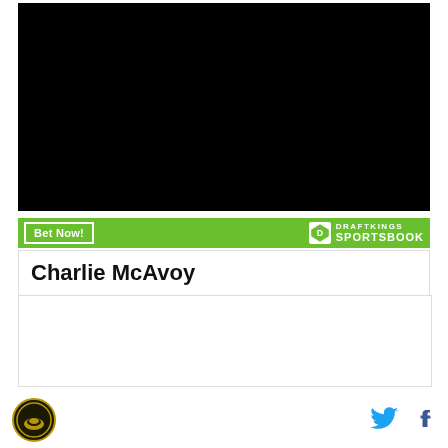[Figure (screenshot): Black video player area]
[Figure (infographic): DraftKings Sportsbook green advertisement banner with Bet Now! button and DraftKings Sportsbook logo]
Charlie McAvoy
[Figure (other): Empty white content area below player name]
[Figure (logo): Site logo circular badge at bottom left, Twitter bird icon and Facebook f icon at bottom right]